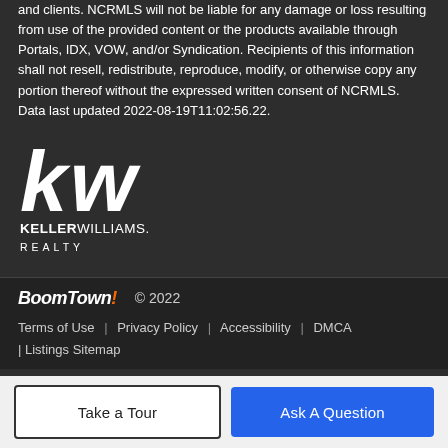and clients. NCRMLS will not be liable for any damage or loss resulting from use of the provided content or the products available through Portals, IDX, VOW, and/or Syndication. Recipients of this information shall not resell, redistribute, reproduce, modify, or otherwise copy any portion thereof without the expressed written consent of NCRMLS. Data last updated 2022-08-19T11:02:56.22.
[Figure (logo): Keller Williams Realty logo — 'kw' monogram above 'KELLERWILLIAMS. REALTY' text in white on dark background]
BoomTown! © 2022
Terms of Use | Privacy Policy | Accessibility | DMCA | Listings Sitemap
Take a Tour
Ask A Question